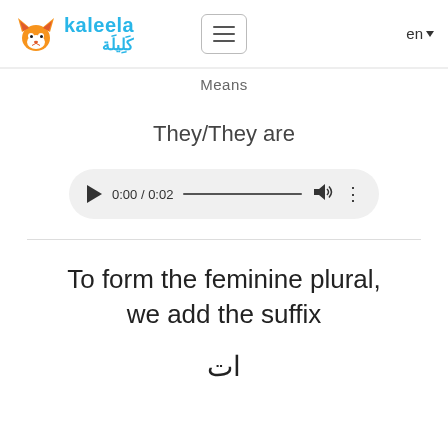[Figure (logo): Kaleela fox logo with English and Arabic text]
Means
They/They are
[Figure (other): Audio player showing 0:00 / 0:02]
To form the feminine plural, we add the suffix
ات